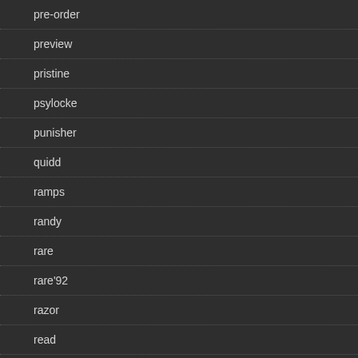pre-order
preview
pristine
psylocke
punisher
quidd
ramps
randy
rare
rare'92
razor
read
rebecca